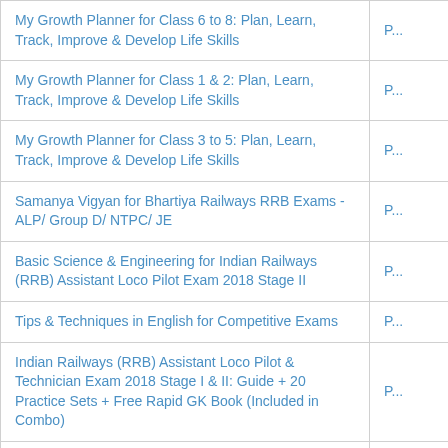| Title | Publisher |
| --- | --- |
| My Growth Planner for Class 6 to 8: Plan, Learn, Track, Improve & Develop Life Skills | P... |
| My Growth Planner for Class 1 & 2: Plan, Learn, Track, Improve & Develop Life Skills | P... |
| My Growth Planner for Class 3 to 5: Plan, Learn, Track, Improve & Develop Life Skills | P... |
| Samanya Vigyan for Bhartiya Railways RRB Exams - ALP/ Group D/ NTPC/ JE | P... |
| Basic Science & Engineering for Indian Railways (RRB) Assistant Loco Pilot Exam 2018 Stage II | P... |
| Tips & Techniques in English for Competitive Exams | P... |
| Indian Railways (RRB) Assistant Loco Pilot & Technician Exam 2018 Stage I & II: Guide + 20 Practice Sets + Free Rapid GK Book (Included in Combo) | P... |
| 20 Practice Sets for Indian Railways (RRB) Assistant Loco Pilot Exam 2018 Stage I | P... |